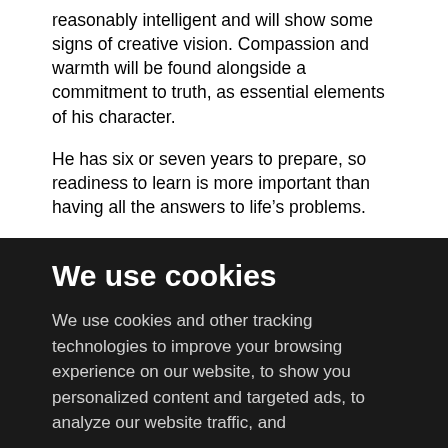reasonably intelligent and will show some signs of creative vision. Compassion and warmth will be found alongside a commitment to truth, as essential elements of his character.
He has six or seven years to prepare, so readiness to learn is more important than having all the answers to life’s problems.
As basic conditions for acceptance into formation, an applicant should:
- Have been  a regularly practising Catholic
- Have maintained or re-established for some significant time
We use cookies
We use cookies and other tracking technologies to improve your browsing experience on our website, to show you personalized content and targeted ads, to analyze our website traffic, and